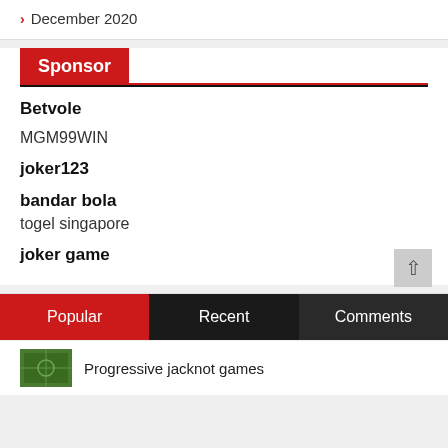December 2020
Sponsor
Betvole
MGM99WIN
joker123
bandar bola
togel singapore
joker game
Popular | Recent | Comments
Progressive jacknot games